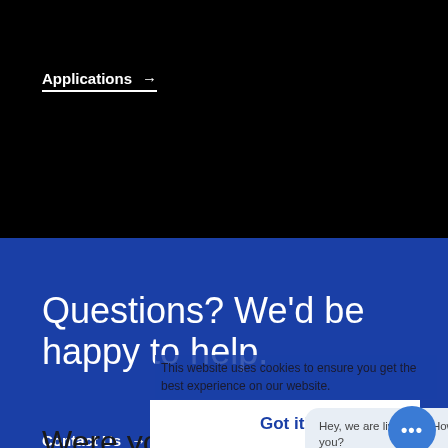Applications →
Questions? We'd be happy to help.
Contact Us →
This website uses cookies to ensure you get the best experience on our website.
Got it!
Were you able to find what you were looking for?
Hey, we are live 24/7. How may I help you?